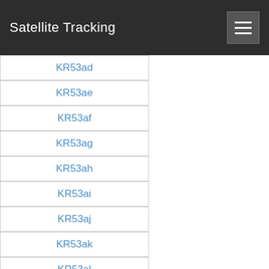Satellite Tracking
KR53ad
KR53ae
KR53af
KR53ag
KR53ah
KR53ai
KR53aj
KR53ak
KR53al
KR53am
KR53an
KR53ao
KR53ap
KR53aq
KR53ar
KR53as
KR53at
KR53au